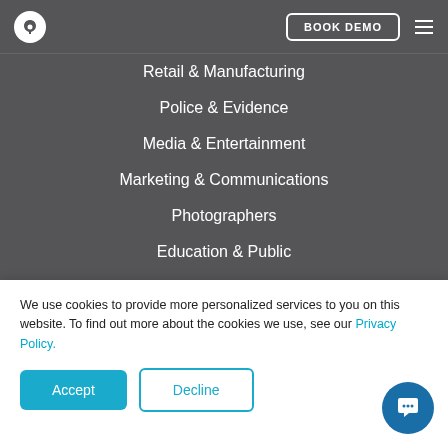BOOK DEMO
Retail & Manufacturing
Police & Evidence
Media & Entertainment
Marketing & Communications
Photographers
Education & Public
Museums & Heritage
Your FotoWare
FotoWare User Group
Customer Portal
We use cookies to provide more personalized services to you on this website. To find out more about the cookies we use, see our Privacy Policy.